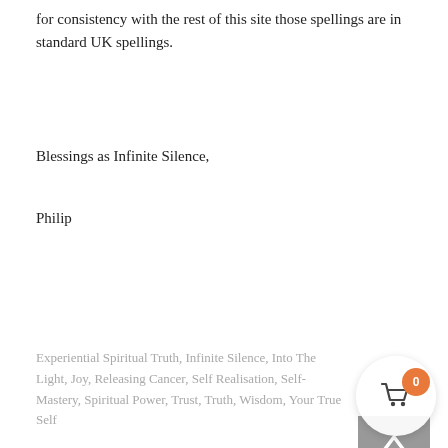for consistency with the rest of this site those spellings are in standard UK spellings.
Blessings as Infinite Silence,
Philip
Experiential Spiritual Truth, Infinite Silence, Into The Light, Joy, Releasing Cancer, Self Realisation, Self-Mastery, Spiritual Power, Trust, Truth, Wisdom, Your True Self
[Figure (photo): Circular profile photo of Philip Wade, a middle-aged man]
Philip Wade
Philip experientially realised the nature of the True Self which 'spoke of itSELF' as Infinite Silence. He shares this profound gift with the world through direct expe... Spiritual Inquiry, Infinite Touch and via this websi... other outlets. The sharing has reached all continents and